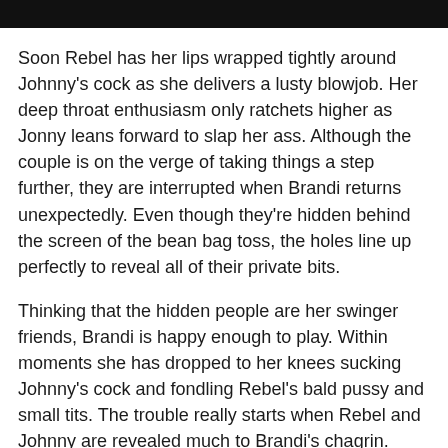[Figure (other): Black horizontal bar at top of page]
Soon Rebel has her lips wrapped tightly around Johnny's cock as she delivers a lusty blowjob. Her deep throat enthusiasm only ratchets higher as Jonny leans forward to slap her ass. Although the couple is on the verge of taking things a step further, they are interrupted when Brandi returns unexpectedly. Even though they're hidden behind the screen of the bean bag toss, the holes line up perfectly to reveal all of their private bits.
Thinking that the hidden people are her swinger friends, Brandi is happy enough to play. Within moments she has dropped to her knees sucking Johnny's cock and fondling Rebel's bald pussy and small tits. The trouble really starts when Rebel and Johnny are revealed much to Brandi's chagrin. After a moment of hesitation, Brandi announces that since they've started they may as well finish it.